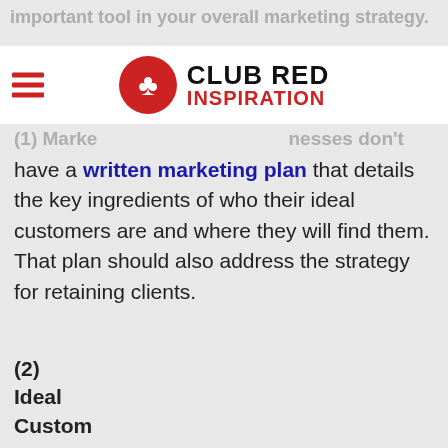important tool in your overall marketing strategy.
[Figure (logo): Club Red Inspiration logo with red circle containing a club symbol and bold text 'CLUB RED INSPIRATION']
(1) Marketing Plan – most businesses don't have a written marketing plan that details the key ingredients of who their ideal customers are and where they will find them. That plan should also address the strategy for retaining clients.
(2) Ideal Customer Profile– really nutting out a